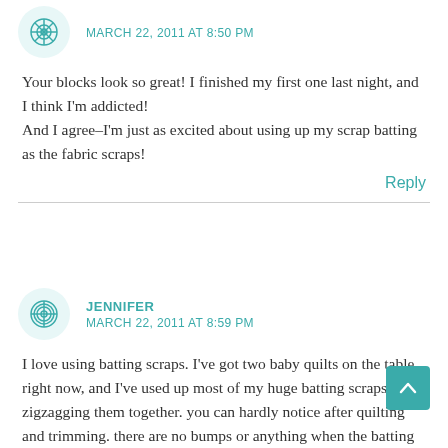MARCH 22, 2011 AT 8:50 PM
Your blocks look so great! I finished my first one last night, and I think I'm addicted!
And I agree–I'm just as excited about using up my scrap batting as the fabric scraps!
Reply
JENNIFER
MARCH 22, 2011 AT 8:59 PM
I love using batting scraps. I've got two baby quilts on the table right now, and I've used up most of my huge batting scraps by zigzagging them together. you can hardly notice after quilting and trimming. there are no bumps or anything when the batting has overlapped.

I have, like you, been saving little pieces of batting, too. I can't bear to throw them out because I know they're perfect for